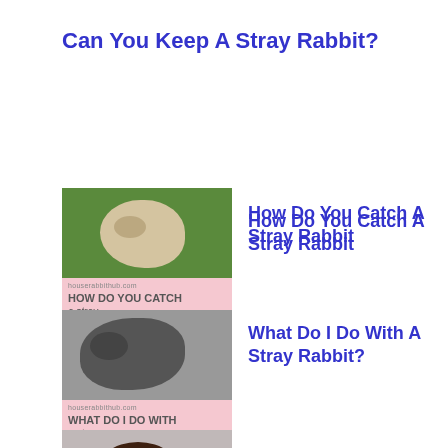Can You Keep A Stray Rabbit?
[Figure (photo): Thumbnail image of a rabbit on grass with pink banner reading HOW DO YOU CATCH]
How Do You Catch A Stray Rabbit
[Figure (photo): Thumbnail image of a grey rabbit with pink banner reading WHAT DO I DO WITH]
What Do I Do With A Stray Rabbit?
[Figure (photo): Thumbnail image of rabbit in round bed with pink banner reading 5 AWESOME BEDS for house]
5 Awesome Beds For House Rabbits